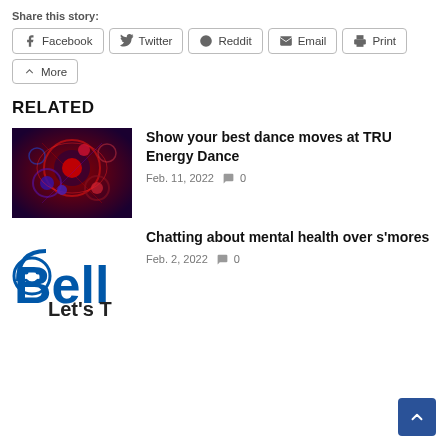Share this story:
Facebook  Twitter  Reddit  Email  Print  More
RELATED
[Figure (photo): Colorful disco ball / abstract dance lights image in red and blue tones]
Show your best dance moves at TRU Energy Dance
Feb. 11, 2022   0
[Figure (logo): Bell Let's Talk logo — partial text showing 'Bell Let's T' with the Bell smiley face icon]
Chatting about mental health over s'mores
Feb. 2, 2022   0